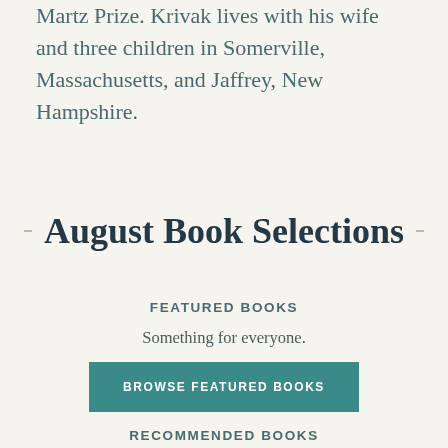Martz Prize. Krivak lives with his wife and three children in Somerville, Massachusetts, and Jaffrey, New Hampshire.
August Book Selections
FEATURED BOOKS
Something for everyone.
BROWSE FEATURED BOOKS
RECOMMENDED BOOKS